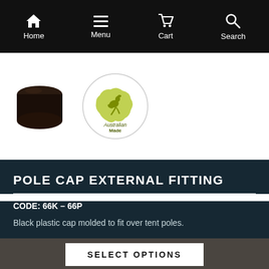Home  Menu  Cart  Search
[Figure (photo): Black plastic pole cap product photo and Australian Made circular logo badge]
POLE CAP EXTERNAL FITTING
CODE: 66K – 66P
Black plastic cap molded to fit over tent poles.
SELECT OPTIONS